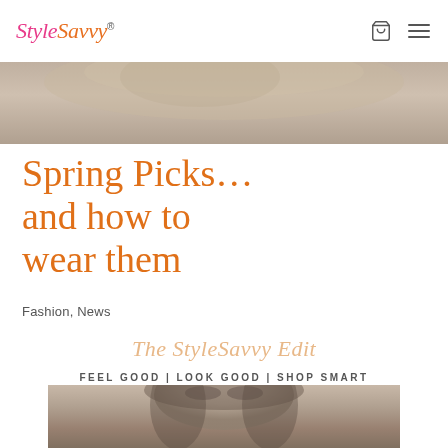StyleSavvy®
[Figure (photo): Top cropped photo of a woman with flowing hair, warm toned background, partial view]
Spring Picks… and how to wear them
Fashion, News
[Figure (illustration): The StyleSavvy Edit script text in cursive, peach/salmon color]
FEEL GOOD | LOOK GOOD | SHOP SMART
[Figure (photo): Bottom photo of a woman with dark hair and strong eye makeup, grey background, cropped from shoulders up]